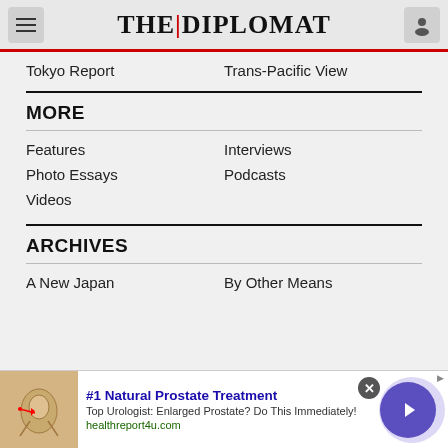THE DIPLOMAT
Tokyo Report
Trans-Pacific View
MORE
Features
Interviews
Photo Essays
Podcasts
Videos
ARCHIVES
A New Japan
By Other Means
[Figure (screenshot): Advertisement banner: #1 Natural Prostate Treatment. Top Urologist: Enlarged Prostate? Do This Immediately! healthreport4u.com]